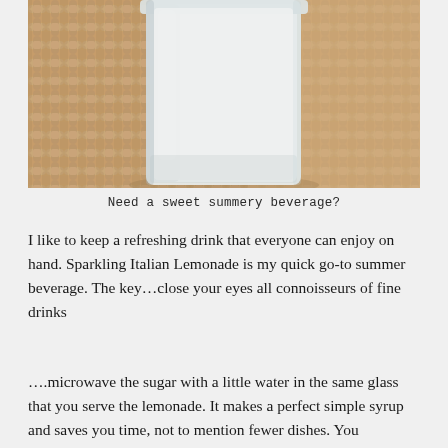[Figure (photo): Close-up photo of a clear glass jar filled with a white/milky liquid, placed on a woven straw placemat. The woven texture fills the background.]
Need a sweet summery beverage?
I like to keep a refreshing drink that everyone can enjoy on hand. Sparkling Italian Lemonade is my quick go-to summer beverage. The key…close your eyes all connoisseurs of fine drinks
….microwave the sugar with a little water in the same glass that you serve the lemonade. It makes a perfect simple syrup and saves you time, not to mention fewer dishes. You